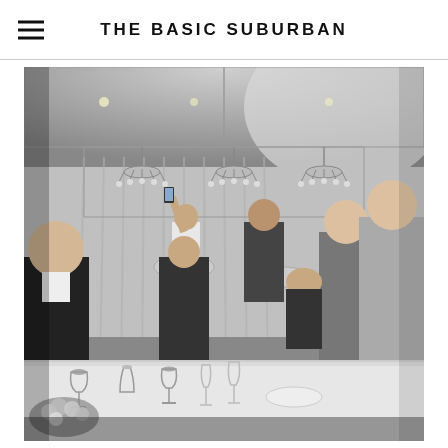THE BASIC SUBURBAN
[Figure (photo): Black and white photograph of a wedding reception banquet hall. People are dressed in formal attire including tuxedos and evening gowns. A man in the foreground is holding up a smartphone to take a photo. Two women on the right side are embracing and smiling. Chandeliers hang from the ceiling. Tables are set with glassware and floral arrangements in the foreground.]